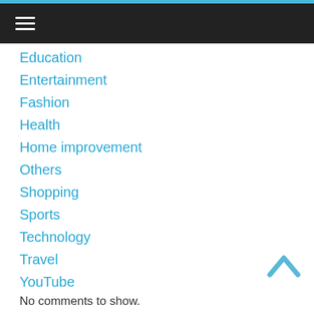☰ (hamburger menu)
Education
Entertainment
Fashion
Health
Home improvement
Others
Shopping
Sports
Technology
Travel
YouTube
No comments to show.